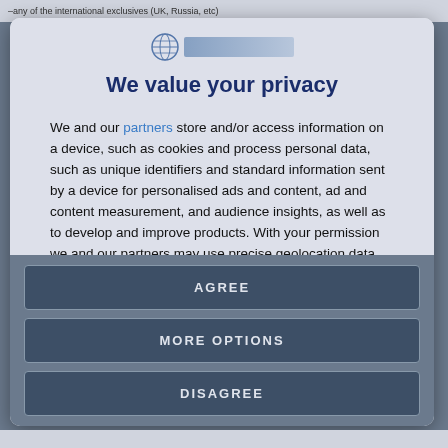-any of the international exclusives (UK, Russia, etc)
[Figure (logo): Organization logo with globe icon and blue text bar]
We value your privacy
We and our partners store and/or access information on a device, such as cookies and process personal data, such as unique identifiers and standard information sent by a device for personalised ads and content, ad and content measurement, and audience insights, as well as to develop and improve products. With your permission we and our partners may use precise geolocation data and identification through device scanning. You may click to consent to our and our partners'
AGREE
MORE OPTIONS
DISAGREE